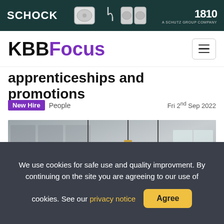[Figure (illustration): Banner advertisement for Schock and 1810 company showing kitchen sinks on a dark teal background]
[Figure (logo): KBBFocus logo with KBB in black bold and Focus in purple bold, with hamburger menu icon]
apprenticeships and promotions
New Hire   People   Fri 2nd Sep 2022
[Figure (photo): Hero image of a modern kitchen with ALL NEW UNO text overlay in white, purple bar at bottom]
We use cookies for safe use and quality improvment. By continuing on the site you are agreeing to our use of cookies. See our privacy notice   Agree